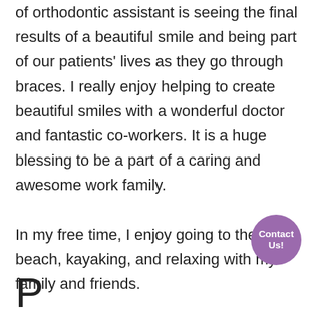of orthodontic assistant is seeing the final results of a beautiful smile and being part of our patients' lives as they go through braces. I really enjoy helping to create beautiful smiles with a wonderful doctor and fantastic co-workers. It is a huge blessing to be a part of a caring and awesome work family.

In my free time, I enjoy going to the beach, kayaking, and relaxing with my family and friends.
[Figure (other): Purple circular button with text 'Contact Us!']
Patti...